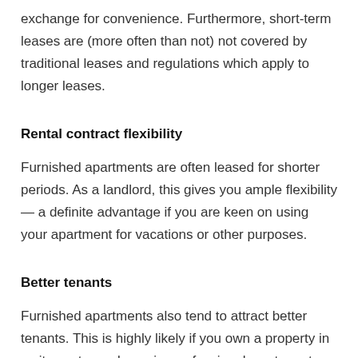exchange for convenience. Furthermore, short-term leases are (more often than not) not covered by traditional leases and regulations which apply to longer leases.
Rental contract flexibility
Furnished apartments are often leased for shorter periods. As a landlord, this gives you ample flexibility — a definite advantage if you are keen on using your apartment for vacations or other purposes.
Better tenants
Furnished apartments also tend to attract better tenants. This is highly likely if you own a property in a city centre and acquire professionals as tenants. These tenants are less likely to damage your property.